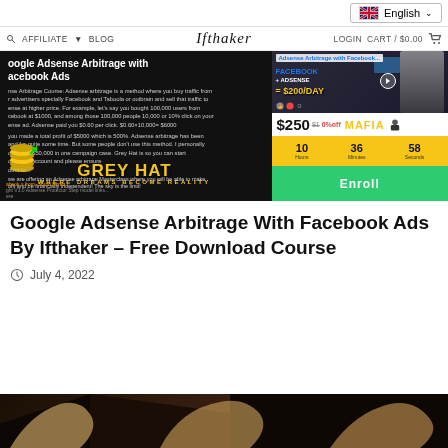English
Ifthaker  AFFILIATE  BLOG  LOGIN  CART / $0.00
[Figure (screenshot): Screenshot of a course page for 'Google Adsense Arbitrage with Facebook Ads' on the Ifthaker website, showing course description on dark background with Grey Hat Mafia watermark, a video thumbnail showing FACEBOOK + ADSENSE = $200/DAY, a price of $250, countdown timer (10 Hours, 36 Minutes, 58 Seconds), and an Enroll button.]
Google Adsense Arbitrage With Facebook Ads By Ifthaker – Free Download Course
July 4, 2022
[Figure (photo): Partial bottom image of a person or scene, mostly dark/brown tones, cropped at bottom of page.]